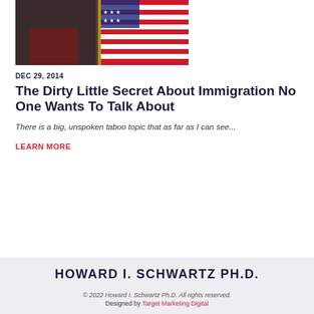[Figure (photo): Person holding an American flag, partial view showing red and white stripes of the flag against a dark background]
DEC 29, 2014
The Dirty Little Secret About Immigration No One Wants To Talk About
There is a big, unspoken taboo topic that as far as I can see...
LEARN MORE
HOWARD I. SCHWARTZ PH.D.
© 2022 Howard I. Schwartz Ph.D. All rights reserved. Designed by Target Marketing Digital